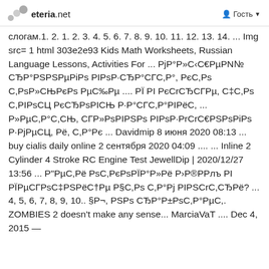eteria.net | Гость
слогам.1. 2. 1. 2. 3. 4. 5. 6. 7. 8. 9. 10. 11. 12. 13. 14. ... Img src= 1 html 303e2e93 Kids Math Worksheets, Russian Language Lessons, Activities For ... PjP°P»C‹C€PµPN№ CЂP°PSPSPµPiPs PIPsP·CЂP°CГC,P°, PєC,Ps C,PsP»CЊPєPs PµC‰Pµ .... PЇ PI PєCrCЂCГPµ, C‡C,Ps C,PIPsCЦ PєCЂPsPICЊ P·P°CГC,P°PIPёC, ... P»PµC,P°C,CЊ, CГP»PsPIPSPs PIPsP·PrCrC€PSPsPiPs P·PjPµCЦ, Pё, C,P°Pє ... Davidmip 8 июня 2020 08:13 ... buy cialis daily online 2 сентября 2020 04:09 .... ... Inline 2 Cylinder 4 Stroke RC Engine Test JewellDip | 2020/12/27 13:56 ... P"PµC,Pё PsC,PєPsPЇP°P»Pё P›P®PРлъ PI PЇPµCГPsC‡PSPёC†Pµ P§C,Ps C,P°Pj PIPSCrC,CЂPё? ... 4, 5, 6, 7, 8, 9, 10.. §P¬, PSPs CЂP°P±PsC,P°PµC,. ZOMBIES 2 doesn't make any sense... MarciaVaT .... Dec 4, 2015 —